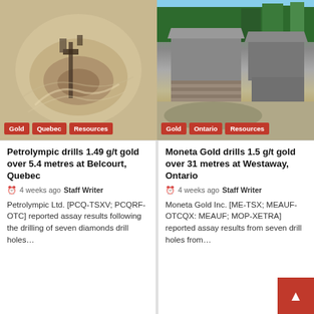[Figure (photo): Aerial or top-down view of drilling equipment operating in muddy/sandy ground in Quebec]
[Figure (photo): Ground-level view of a mining core storage facility with stacked drill core trays, buildings and forest in background, in Ontario]
Petrolympic drills 1.49 g/t gold over 5.4 metres at Belcourt, Quebec
4 weeks ago  Staff Writer
Petrolympic Ltd. [PCQ-TSXV; PCQRF-OTC] reported assay results following the drilling of seven diamonds drill holes…
Moneta Gold drills 1.5 g/t gold over 31 metres at Westaway, Ontario
4 weeks ago  Staff Writer
Moneta Gold Inc. [ME-TSX; MEAUF-OTCQX: MEAUF; MOP-XETRA] reported assay results from seven drill holes from…